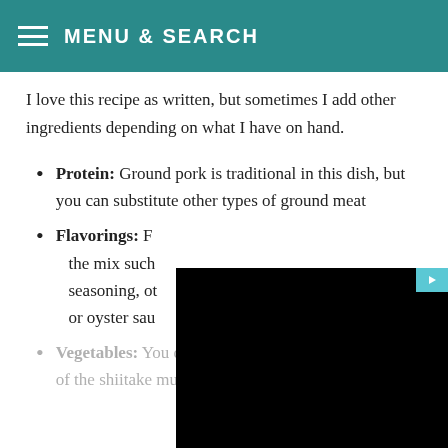MENU & SEARCH
I love this recipe as written, but sometimes I add other ingredients depending on what I have on hand.
Protein: Ground pork is traditional in this dish, but you can substitute other types of ground meat
Flavorings: F the mix such seasoning, ot or oyster sau
Vegetables: You can use button mushrooms instead of the shiitake mushrooms that the